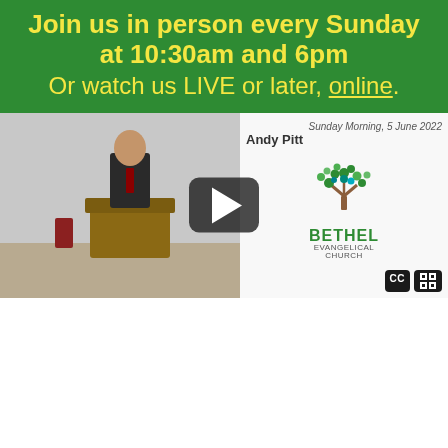Join us in person every Sunday at 10:30am and 6pm
Or watch us LIVE or later, online.
[Figure (screenshot): Video thumbnail showing a preacher at a pulpit on the left, with date 'Sunday Morning, 5 June 2022' and speaker name 'Andy Pitt', Bethel Evangelical Church logo with tree graphic on the right, and a play button overlay in the center.]
Taste and see